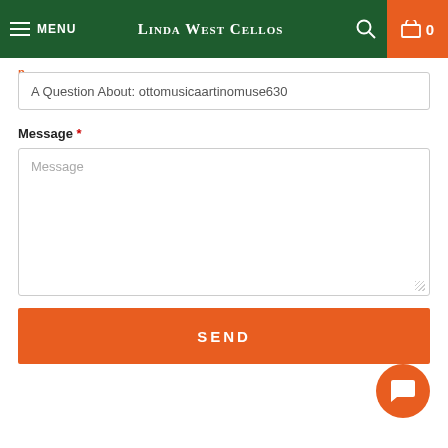MENU | Linda West Cellos | 0
A Question About: ottomusicaartinomuse630
Message *
Message
SEND